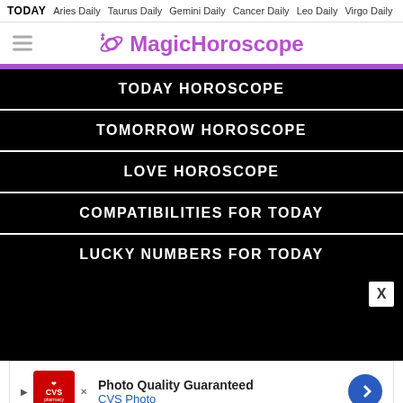TODAY  Aries Daily  Taurus Daily  Gemini Daily  Cancer Daily  Leo Daily  Virgo Daily
MagicHoroscope
TODAY HOROSCOPE
TOMORROW HOROSCOPE
LOVE HOROSCOPE
COMPATIBILITIES FOR TODAY
LUCKY NUMBERS FOR TODAY
[Figure (screenshot): Black ad popup area with white X close button in top right corner]
[Figure (screenshot): CVS Photo advertisement banner: Photo Quality Guaranteed, CVS Photo, with CVS pharmacy logo and blue direction sign icon]